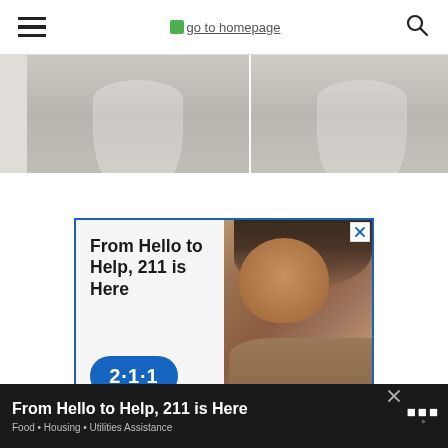go to homepage
[Figure (photo): Two glass jars photographed from above on a marble surface, shown in a two-panel side-by-side strip cropped at the top]
[Figure (infographic): Advertisement: 'From Hello to Help, 211 is Here' with text on left and photo of a child on right, featuring the 211 badge logo]
[Figure (infographic): Bottom banner ad: 'From Hello to Help, 211 is Here' with subtitle 'Food • Housing • Utilities Assistance' on dark background]